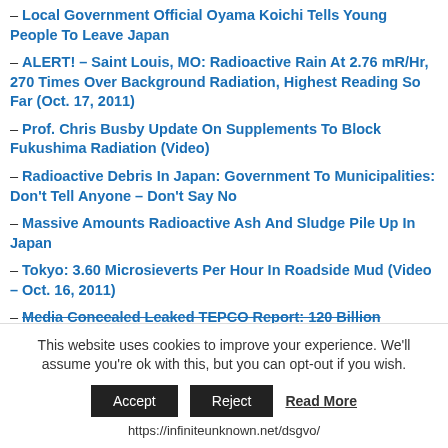– Local Government Official Oyama Koichi Tells Young People To Leave Japan
– ALERT! – Saint Louis, MO: Radioactive Rain At 2.76 mR/Hr, 270 Times Over Background Radiation, Highest Reading So Far (Oct. 17, 2011)
– Prof. Chris Busby Update On Supplements To Block Fukushima Radiation (Video)
– Radioactive Debris In Japan: Government To Municipalities: Don't Tell Anyone – Don't Say No
– Massive Amounts Radioactive Ash And Sludge Pile Up In Japan
– Tokyo: 3.60 Microsieverts Per Hour In Roadside Mud (Video – Oct. 16, 2011)
– Media Concealed Leaked TEPCO Report: 120 Billion
This website uses cookies to improve your experience. We'll assume you're ok with this, but you can opt-out if you wish. [Accept] [Reject] Read More https://infiniteunknown.net/dsgvo/